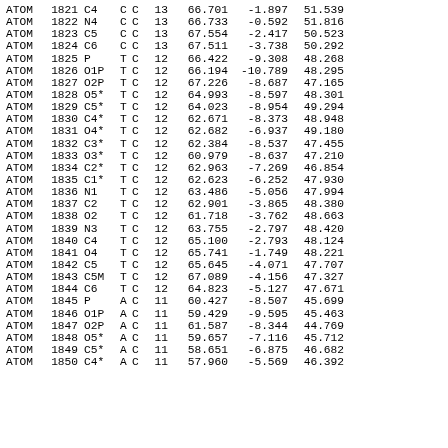|  |  |  |  |  |  |  |  |  |
| --- | --- | --- | --- | --- | --- | --- | --- | --- |
| ATOM | 1821 | C4 | C | C | 13 | 66.701 | -1.897 | 51.539 |
| ATOM | 1822 | N4 | C | C | 13 | 66.733 | -0.592 | 51.816 |
| ATOM | 1823 | C5 | C | C | 13 | 67.554 | -2.417 | 50.523 |
| ATOM | 1824 | C6 | C | C | 13 | 67.511 | -3.738 | 50.292 |
| ATOM | 1825 | P | T | C | 12 | 66.422 | -9.308 | 48.268 |
| ATOM | 1826 | O1P | T | C | 12 | 66.194 | -10.789 | 48.295 |
| ATOM | 1827 | O2P | T | C | 12 | 67.226 | -8.687 | 47.165 |
| ATOM | 1828 | O5* | T | C | 12 | 64.993 | -8.597 | 48.301 |
| ATOM | 1829 | C5* | T | C | 12 | 64.023 | -8.954 | 49.294 |
| ATOM | 1830 | C4* | T | C | 12 | 62.671 | -8.373 | 48.948 |
| ATOM | 1831 | O4* | T | C | 12 | 62.682 | -6.937 | 49.180 |
| ATOM | 1832 | C3* | T | C | 12 | 62.384 | -8.537 | 47.455 |
| ATOM | 1833 | O3* | T | C | 12 | 60.979 | -8.637 | 47.210 |
| ATOM | 1834 | C2* | T | C | 12 | 62.963 | -7.269 | 46.854 |
| ATOM | 1835 | C1* | T | C | 12 | 62.623 | -6.252 | 47.930 |
| ATOM | 1836 | N1 | T | C | 12 | 63.486 | -5.056 | 47.994 |
| ATOM | 1837 | C2 | T | C | 12 | 62.901 | -3.865 | 48.380 |
| ATOM | 1838 | O2 | T | C | 12 | 61.718 | -3.762 | 48.663 |
| ATOM | 1839 | N3 | T | C | 12 | 63.755 | -2.797 | 48.420 |
| ATOM | 1840 | C4 | T | C | 12 | 65.100 | -2.793 | 48.124 |
| ATOM | 1841 | O4 | T | C | 12 | 65.741 | -1.749 | 48.221 |
| ATOM | 1842 | C5 | T | C | 12 | 65.645 | -4.071 | 47.707 |
| ATOM | 1843 | C5M | T | C | 12 | 67.089 | -4.156 | 47.327 |
| ATOM | 1844 | C6 | T | C | 12 | 64.823 | -5.127 | 47.671 |
| ATOM | 1845 | P | A | C | 11 | 60.427 | -8.507 | 45.699 |
| ATOM | 1846 | O1P | A | C | 11 | 59.429 | -9.595 | 45.463 |
| ATOM | 1847 | O2P | A | C | 11 | 61.587 | -8.344 | 44.769 |
| ATOM | 1848 | O5* | A | C | 11 | 59.657 | -7.116 | 45.712 |
| ATOM | 1849 | C5* | A | C | 11 | 58.651 | -6.875 | 46.682 |
| ATOM | 1850 | C4* | A | C | 11 | 57.960 | -5.569 | 46.392 |